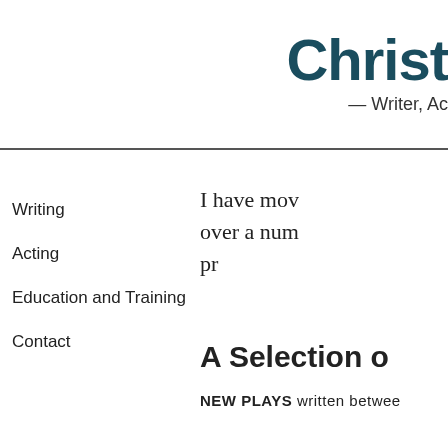Christ
— Writer, Ac
Writing
Acting
Education and Training
Contact
I have mov over a num pr
A Selection o
NEW PLAYS written betwee